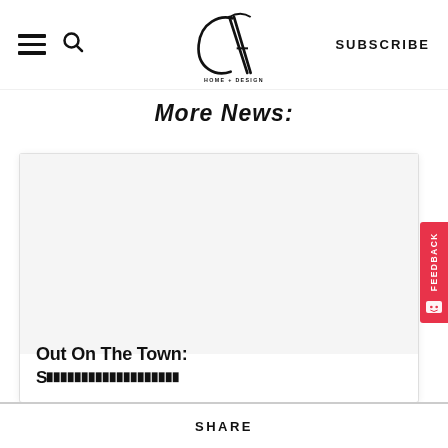CA Home + Design — navigation bar with hamburger menu, search icon, logo, and SUBSCRIBE button
More News:
[Figure (screenshot): CA Home + Design magazine logo — stylized C and A letters with HOME + DESIGN text below]
Out On The Town:
SHARE